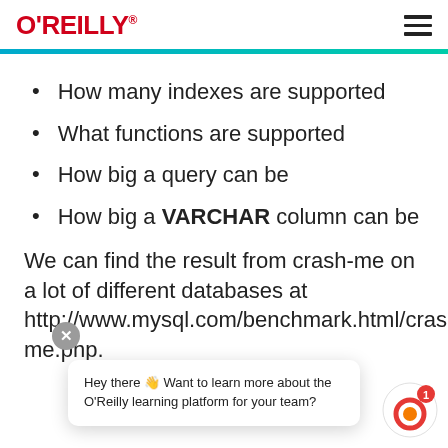O'REILLY
How many indexes are supported
What functions are supported
How big a query can be
How big a VARCHAR column can be
We can find the result from crash-me on a lot of different databases at http://www.mysql.com/benchmark.html/crash-me.php.